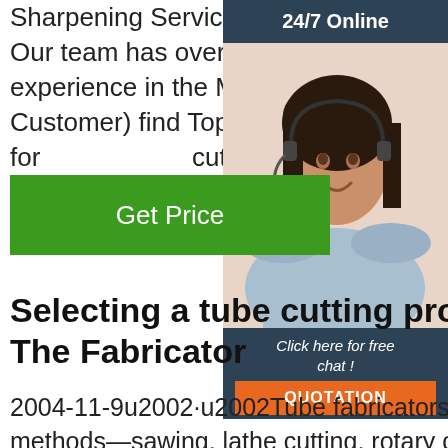Sharpening Service Nationwide at Competitive Prices. Our team has over 30 combined years of knowledge and experience in the Metalworking Industry to help you (Our Customer) find Top Quality Cutting Tools and Machinery for cutting …
[Figure (photo): Customer service representative with headset, smiling. Sidebar with '24/7 Online' header, 'Click here for free chat!' text, and orange QUOTATION button.]
Get Price
Selecting a tube cutting pro… The Fabricator
2004-11-9u2002·u2002Tube fabricators use a variety of methods—sawing, lathe cutting, rotary cutting, supported shear cutting, dual-blade shear cutting, and laser cutting—to cut tubing from mill lengths into shorter pieces for use in final